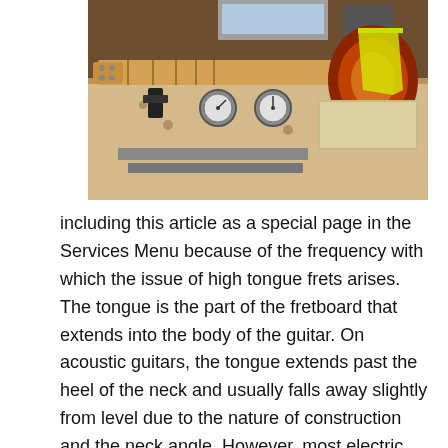[Figure (photo): A guitar neck being measured or worked on in a workshop jig with gauge instruments and yellow straps holding the guitar body. Wooden workbench setup with dial gauges and metal fixtures.]
including this article as a special page in the Services Menu because of the frequency with which the issue of high tongue frets arises. The tongue is the part of the fretboard that extends into the body of the guitar. On acoustic guitars, the tongue extends past the heel of the neck and usually falls away slightly from level due to the nature of construction and the neck angle. However, most electric guitars are made differently...